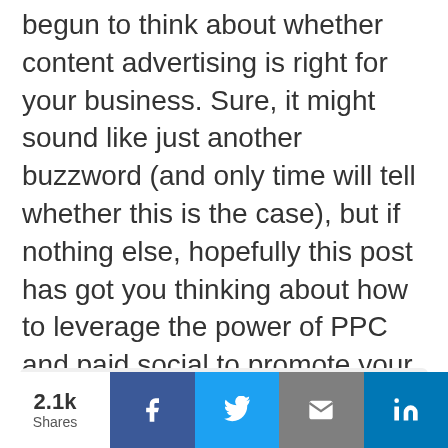begun to think about whether content advertising is right for your business. Sure, it might sound like just another buzzword (and only time will tell whether this is the case), but if nothing else, hopefully this post has got you thinking about how to leverage the power of PPC and paid social to promote your content.
As always, get at me below with questions, comments, or insights.
2.1k Shares | Facebook | Twitter | Email | LinkedIn